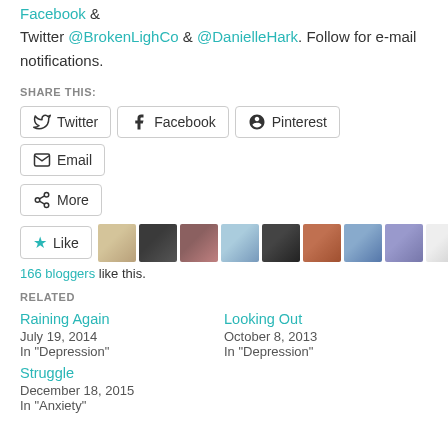Facebook & Twitter @BrokenLighCo & @DanielleHark. Follow for e-mail notifications.
SHARE THIS:
Twitter | Facebook | Pinterest | Email | More
Like | [blogger avatars] | 166 bloggers like this.
RELATED
Raining Again
July 19, 2014
In "Depression"
Looking Out
October 8, 2013
In "Depression"
Struggle
December 18, 2015
In "Anxiety"